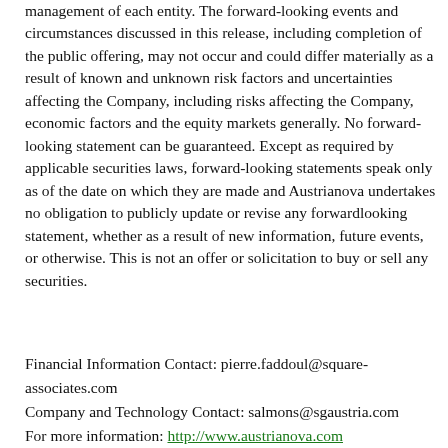management of each entity. The forward-looking events and circumstances discussed in this release, including completion of the public offering, may not occur and could differ materially as a result of known and unknown risk factors and uncertainties affecting the Company, including risks affecting the Company, economic factors and the equity markets generally. No forward-looking statement can be guaranteed. Except as required by applicable securities laws, forward-looking statements speak only as of the date on which they are made and Austrianova undertakes no obligation to publicly update or revise any forwardlooking statement, whether as a result of new information, future events, or otherwise. This is not an offer or solicitation to buy or sell any securities.
Financial Information Contact: pierre.faddoul@square-associates.com
Company and Technology Contact: salmons@sgaustria.com
For more information: http://www.austrianova.com